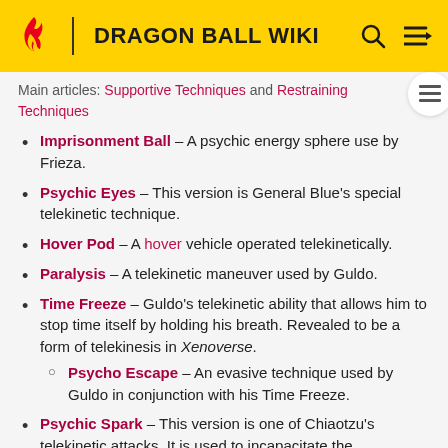DRAGON BALL WIKI
Main articles: Supportive Techniques and Restraining Techniques
Imprisonment Ball – A psychic energy sphere used by Frieza.
Psychic Eyes – This version is General Blue's special telekinetic technique.
Hover Pod – A hover vehicle operated telekinetically.
Paralysis – A telekinetic maneuver used by Guldo.
Time Freeze – Guldo's telekinetic ability that allows him to stop time itself by holding his breath. Revealed to be a form of telekinesis in Xenoverse.
Psycho Escape – An evasive technique used by Guldo in conjunction with his Time Freeze.
Psychic Spark – This version is one of Chiaotzu's telekinetic attacks. It is used to incapacitate the